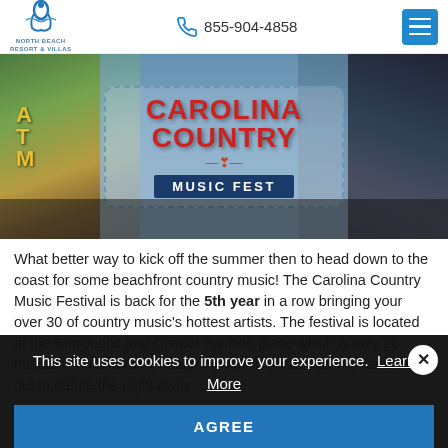North Beach Resort & Villas | 855-904-4858
[Figure (photo): Carolina Country Music Fest festival banner with crowd in background. Large red text reads CAROLINA COUNTRY with MUSIC FEST on a dark blue banner, surrounded by a dashed border. Crowd and colorful event structures visible on left and right sides.]
What better way to kick off the summer then to head down to the coast for some beachfront country music! The Carolina Country Music Festival is back for the 5th year in a row bringing your over 30 of country music's hottest artists. The festival is located at the Burroughs and Chapin Pavilion place which is only 20 minutes south of the Cottages at North Beach! Before heading out to dance the night away
This site uses cookies to improve your experience. Learn More
AGREE